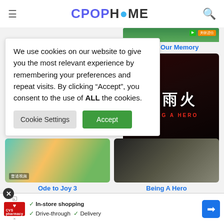CPOPHOME
We use cookies on our website to give you the most relevant experience by remembering your preferences and repeat visits. By clicking “Accept”, you consent to the use of ALL the cookies.
Cookie Settings | Accept
Rainbow in Our Memory
[Figure (photo): Movie poster for Being A Hero (冰雨火) showing two men, dark dramatic tones]
Being A Hero
[Figure (photo): Ode to Joy 3 thumbnail showing food on table with colorful background]
Ode to Joy 3
[Figure (screenshot): CVS Pharmacy advertisement showing In-store shopping, Drive-through, Delivery options]